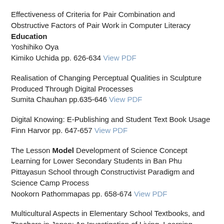Effectiveness of Criteria for Pair Combination and Obstructive Factors of Pair Work in Computer Literacy Education
Yoshihiko Oya
Kimiko Uchida pp. 626-634 View PDF
Realisation of Changing Perceptual Qualities in Sculpture Produced Through Digital Processes
Sumita Chauhan pp.635-646 View PDF
Digital Knowing: E-Publishing and Student Text Book Usage
Finn Harvor pp. 647-657 View PDF
The Lesson Model Development of Science Concept Learning for Lower Secondary Students in Ban Phu Pittayasun School through Constructivist Paradigm and Science Camp Process
Nookorn Pathommapas pp. 658-674 View PDF
Multicultural Aspects in Elementary School Textbooks, and Teachers in Japan: An Investigation of Living, Learning, School